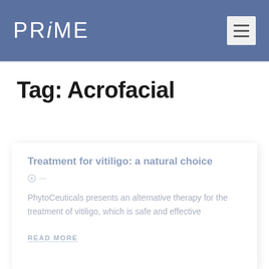PRiME
Tag: Acrofacial
Treatment for vitiligo: a natural choice
PhytoCeuticals presents an alternative therapy for the treatment of vitiligo, which is safe and effective
READ MORE